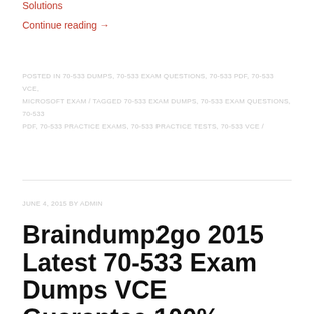Solutions
Continue reading →
POSTED IN 70-533 DUMPS, 70-533 EXAM QUESTIONS, 70-533 PDF, 70-533 VCE, MICROSOFT EXAM / TAGGED 70-533 EXAM DUMPS, 70-533 EXAM QUESTIONS, 70-533 PDF, 70-533 PRACTICE EXAMS, 70-533 PRACTICE TESTS, 70-533 VCE /
JUNE 4, 2015 BY ADMIN
Braindump2go 2015 Latest 70-533 Exam Dumps VCE Guarantee 100% Exam Pass